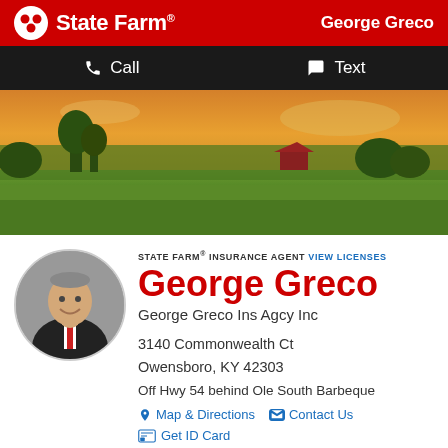State Farm® — George Greco
Call   Text
[Figure (photo): Panoramic rural landscape at sunset with green fields, trees, and a red barn under an orange-tinted sky]
[Figure (photo): Circular headshot of George Greco, a man in a dark suit with a red tie, smiling]
STATE FARM® INSURANCE AGENT VIEW LICENSES
George Greco
George Greco Ins Agcy Inc
3140 Commonwealth Ct
Owensboro, KY 42303
Off Hwy 54 behind Ole South Barbeque
Map & Directions   Contact Us
Get ID Card